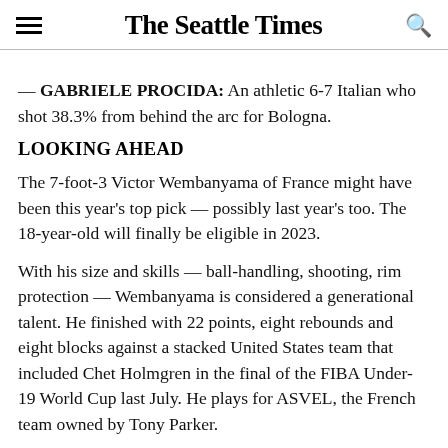The Seattle Times
— GABRIELE PROCIDA: An athletic 6-7 Italian who shot 38.3% from behind the arc for Bologna.
LOOKING AHEAD
The 7-foot-3 Victor Wembanyama of France might have been this year's top pick — possibly last year's too. The 18-year-old will finally be eligible in 2023.
With his size and skills — ball-handling, shooting, rim protection — Wembanyama is considered a generational talent. He finished with 22 points, eight rebounds and eight blocks against a stacked United States team that included Chet Holmgren in the final of the FIBA Under-19 World Cup last July. He plays for ASVEL, the French team owned by Tony Parker.